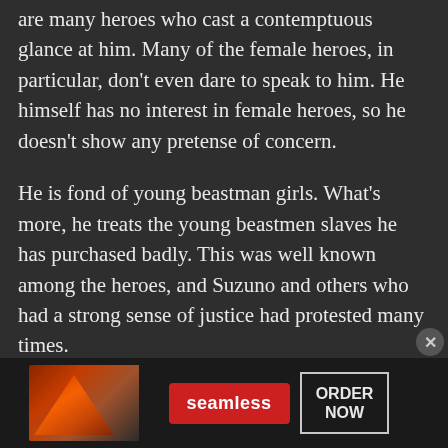are many heroes who cast a contemptuous glance at him. Many of the female heroes, in particular, don't even dare to speak to him. He himself has no interest in female heroes, so he doesn't show any pretense of concern.
He is fond of young beastman girls. What's more, he treats the young beastmen slaves he has purchased badly. This was well known among the heroes, and Suzuno and others who had a strong sense of justice had protested many times.
What do you do with the purchase of a young beastman slave? In Japan, this is an act that would surely be taken care of by the police. However, it doesn't even matter what he does to the young
[Figure (infographic): Seamless food delivery advertisement banner with pizza image on left, red Seamless logo button in center, and ORDER NOW button with border on right]